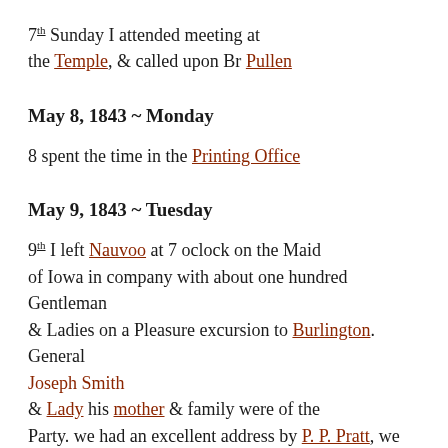7th Sunday I attended meeting at the Temple, & called upon Br Pullen
May 8, 1843 ~ Monday
8 spent the time in the Printing Office
May 9, 1843 ~ Tuesday
9th I left Nauvoo at 7 oclock on the Maid of Iowa in company with about one hundred Gentleman & Ladies on a Pleasure excursion to Burlington. General Joseph Smith & Lady his mother & family were of the Party. we had an excellent address by P. P. Pratt, we touched at Fort Madison